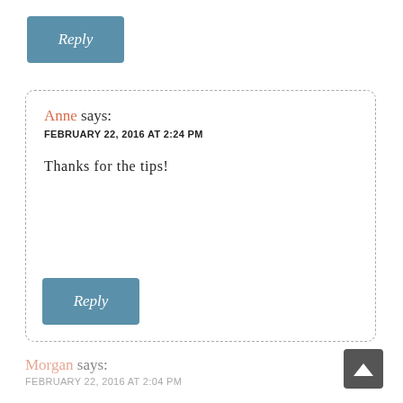[Figure (other): A blue Reply button at the top of the page]
Anne says:
FEBRUARY 22, 2016 AT 2:24 PM

Thanks for the tips!
[Figure (other): A blue Reply button inside the dashed comment box]
Morgan says:
FEBRUARY 22, 2016 AT 2:04 PM

I've never heard of a bullet journal, but I just LOVE the idea! I'm a hue fan of curesy journals and love a